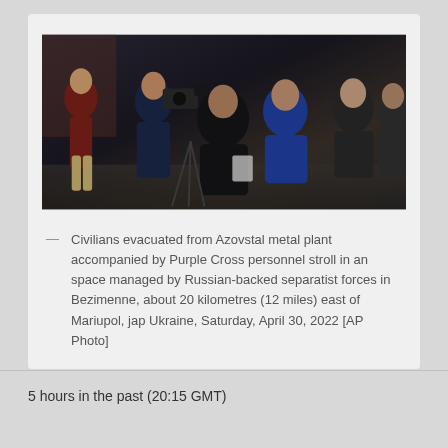[Figure (photo): Group of people including civilians and camera crew in a dark indoor space. A person with a video camera is visible, and several individuals stand or sit in the background.]
— Civilians evacuated from Azovstal metal plant accompanied by Purple Cross personnel stroll in an space managed by Russian-backed separatist forces in Bezimenne, about 20 kilometres (12 miles) east of Mariupol, jap Ukraine, Saturday, April 30, 2022 [AP Photo]
5 hours in the past (20:15 GMT)